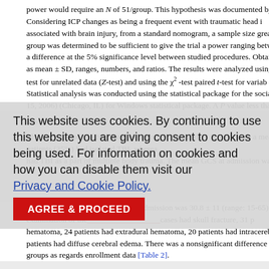power would require an N of 51/group. This hypothesis was documented by Mu... Considering ICP changes as being a frequent event with traumatic head i... associated with brain injury, from a standard nomogram, a sample size greater... group was determined to be sufficient to give the trial a power ranging between... a difference at the 5% significance level between studied procedures. Obtained... as mean ± SD, ranges, numbers, and ratios. The results were analyzed using... test for unrelated data (Z-test) and using the χ² -test paired t-test for variab... Statistical analysis was conducted using the statistical package for the social sc... 15, 2006) (Chicago, IL) for Windows statistical package. A P value less than... statistically significant.
Results
The study included 120 trauma patients, 87 male and 33 female, with a mean... patients (35%) had isolated TBI, wherea... had TBI as a part of multiple body trauma. The mean GCS at admission was 4.8...
The mean Injury Severity Score at admission was 30.8 ± 11 (range: 15-65). The examination of the... cases had skull fracture, 31 p... hematoma, 24 patients had extradural hematoma, 20 patients had intracerebra... patients had diffuse cerebral edema. There was a nonsignificant difference... groups as regards enrollment data [Table 2].